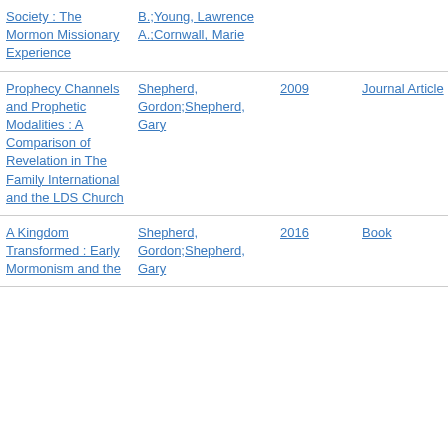| Title | Author | Year | Type |
| --- | --- | --- | --- |
| Society : The Mormon Missionary Experience | B.;Young, Lawrence A.;Cornwall, Marie |  |  |
| Prophecy Channels and Prophetic Modalities : A Comparison of Revelation in The Family International and the LDS Church | Shepherd, Gordon;Shepherd, Gary | 2009 | Journal Article |
| A Kingdom Transformed : Early Mormonism and the Mainstream RC… | Shepherd, Gordon;Shepherd, Gary | 2016 | Book |